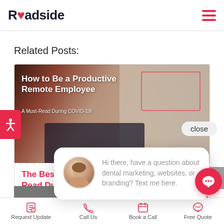Roadside
Related Posts:
[Figure (screenshot): Blog post thumbnail card: 'How to Be a Productive Remote Employee – A Must-Read During COVID-19!' with woman at laptop image background]
The Best... Read Dur...
[Figure (screenshot): Chat popup with woman avatar: 'Hi there, have a question about dental marketing, websites, or branding? Text me here.']
Request Update  Call Us  Book a Call  Free Quote